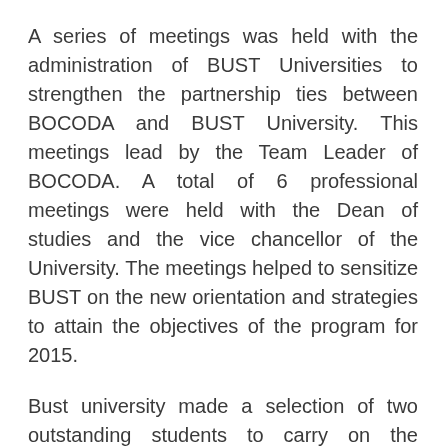A series of meetings was held with the administration of BUST Universities to strengthen the partnership ties between BOCODA and BUST University. This meetings lead by the Team Leader of BOCODA. A total of 6 professional meetings were held with the Dean of studies and the vice chancellor of the University. The meetings helped to sensitize BUST on the new orientation and strategies to attain the objectives of the program for 2015.
Bust university made a selection of two outstanding students to carry on the responsibility of 2015 program fellow. The two students Fonbah Junior Eric and Suh Nchang Tabitha were selected by name and presented